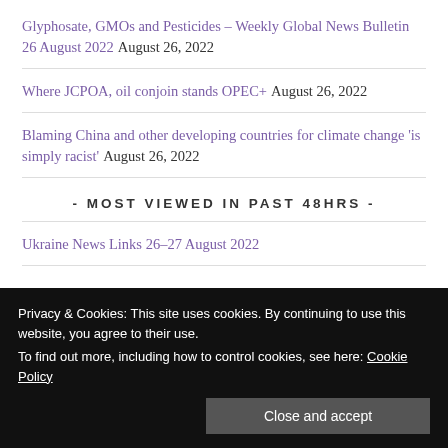Glyphosate, GMOs and Pesticides – Weekly Global News Bulletin 26 August 2022 August 26, 2022
Where JCPOA, oil conjoin stands OPEC+ August 26, 2022
Blaming China and other developing countries for climate change 'is simply racist' August 26, 2022
- MOST VIEWED IN PAST 48HRS -
Ukraine News Links 26–27 August 2022
Privacy & Cookies: This site uses cookies. By continuing to use this website, you agree to their use. To find out more, including how to control cookies, see here: Cookie Policy